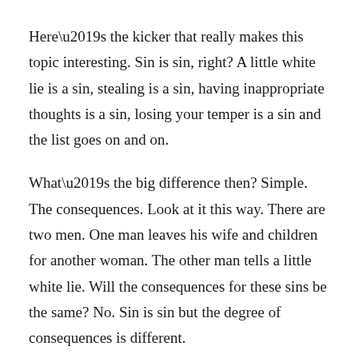Here’s the kicker that really makes this topic interesting.  Sin is sin, right?  A little white lie is a sin, stealing is a sin, having inappropriate thoughts is a sin, losing your temper is a sin and the list goes on and on.
What’s the big difference then?  Simple. The consequences.  Look at it this way.  There are two men.  One man leaves his wife and children for another woman.  The other man tells a little white lie.  Will the consequences for these sins be the same?  No.  Sin is sin but the degree of consequences is different.
So, whether you simply ignoring God’s call on your life